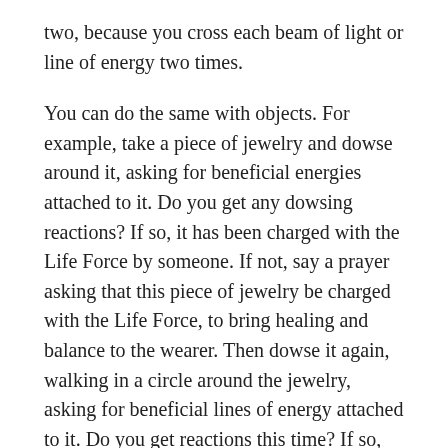two, because you cross each beam of light or line of energy two times.
You can do the same with objects. For example, take a piece of jewelry and dowse around it, asking for beneficial energies attached to it. Do you get any dowsing reactions? If so, it has been charged with the Life Force by someone. If not, say a prayer asking that this piece of jewelry be charged with the Life Force, to bring healing and balance to the wearer. Then dowse it again, walking in a circle around the jewelry, asking for beneficial lines of energy attached to it. Do you get reactions this time? If so, how many? If you do get reactions, you have attached some of your light to the jewelry, at a frequency defined by your intent. You have programmed the jewelry. Whoever wears it should